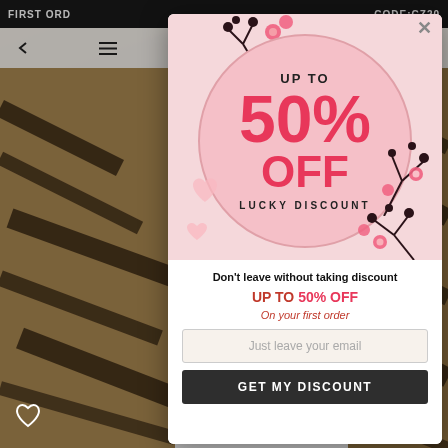FIRST ORD... CODE:CZ20
[Figure (screenshot): E-commerce website background with tiger-stripe clothing on left and right sides, and navigation bar at top]
[Figure (infographic): Popup modal with pink circular badge showing 'UP TO 50% OFF LUCKY DISCOUNT' with floral decorations]
Don't leave without taking discount
UP TO 50% OFF
On your first order
Just leave your email
GET MY DISCOUNT